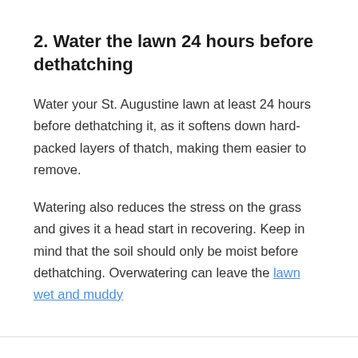2. Water the lawn 24 hours before dethatching
Water your St. Augustine lawn at least 24 hours before dethatching it, as it softens down hard-packed layers of thatch, making them easier to remove.
Watering also reduces the stress on the grass and gives it a head start in recovering. Keep in mind that the soil should only be moist before dethatching. Overwatering can leave the lawn wet and muddy